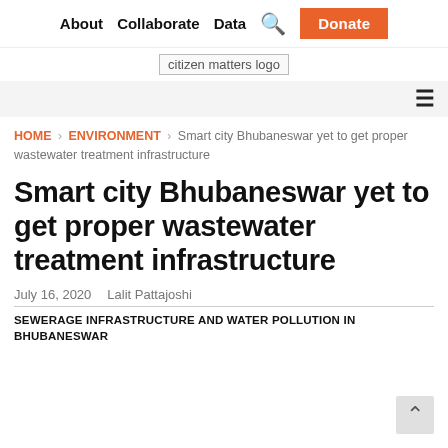About   Collaborate   Data   🔍   Donate
[Figure (logo): citizen matters logo placeholder image]
≡ (hamburger menu icon)
HOME › ENVIRONMENT › Smart city Bhubaneswar yet to get proper wastewater treatment infrastructure
Smart city Bhubaneswar yet to get proper wastewater treatment infrastructure
July 16, 2020   Lalit Pattajoshi
SEWERAGE INFRASTRUCTURE AND WATER POLLUTION IN BHUBANESWAR